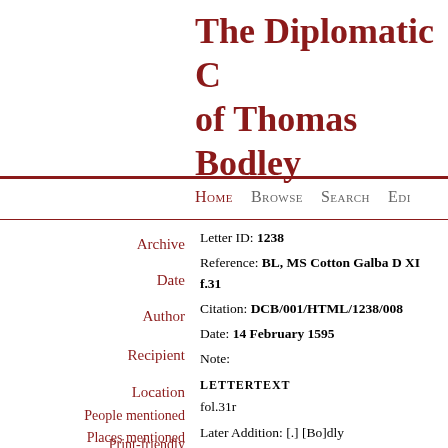The Diplomatic Correspondence of Thomas Bodley
Home Browse Search Edit
Letter ID: 1238
Reference: BL, MS Cotton Galba D XI f.31
Citation: DCB/001/HTML/1238/008
Date: 14 February 1595
Note:
LETTERTEXT
fol.31r
Later Addition: [.] [Bo]dly
Right honorable, my very good L. your lettr
L. and according to the tenor, I am very desi
Archive
Date
Author
Recipient
Location
People mentioned
Places mentioned
Letter IDs
Print-friendly